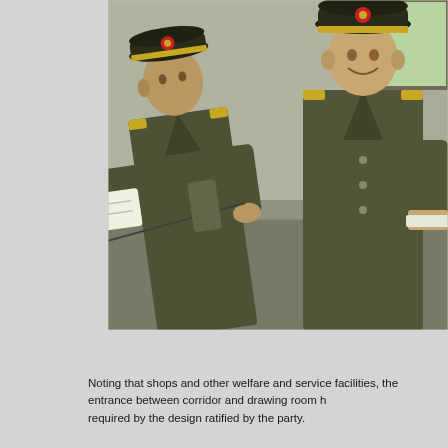[Figure (photo): Two military officers in olive/khaki uniforms and peaked caps inside a concrete building under construction. The officer on the right is taller and smiling, holding papers. The officer on the left is leaning forward writing in a notepad. A window is visible in the upper right background.]
Noting that shops and other welfare and service facilities, the entrance between corridor and drawing room have not been built as required by the design ratified by the party.